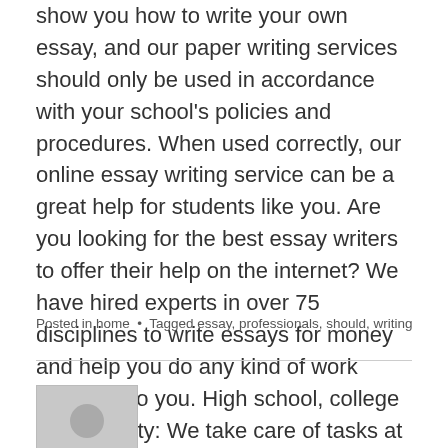show you how to write your own essay, and our paper writing services should only be used in accordance with your school's policies and procedures. When used correctly, our online essay writing service can be a great help for students like you. Are you looking for the best essay writers to offer their help on the internet? We have hired experts in over 75 disciplines to write essays for money and help you do any kind of work assigned to you. High school, college or university: We take care of tasks at every academic level.
Posted in home  •  Tagged essay, professionals, should, writing
[Figure (illustration): Generic user avatar placeholder — grey square with a white person silhouette (circle head and rounded shoulders)]